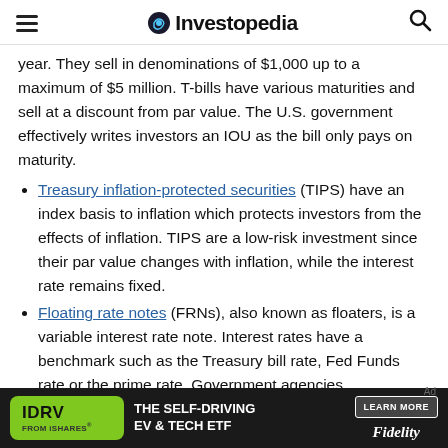Investopedia
year. They sell in denominations of $1,000 up to a maximum of $5 million. T-bills have various maturities and sell at a discount from par value. The U.S. government effectively writes investors an IOU as the bill only pays on maturity.
Treasury inflation-protected securities (TIPS) have an index basis to inflation which protects investors from the effects of inflation. TIPS are a low-risk investment since their par value changes with inflation, while the interest rate remains fixed.
Floating rate notes (FRNs), also known as floaters, is a variable interest rate note. Interest rates have a benchmark such as the Treasury bill rate, Fed Funds rate or the prime rate. Government agencies
[Figure (other): IDRV FROM iSHARES advertisement banner - THE SELF-DRIVING EV & TECH ETF - LEARN MORE - Fidelity]